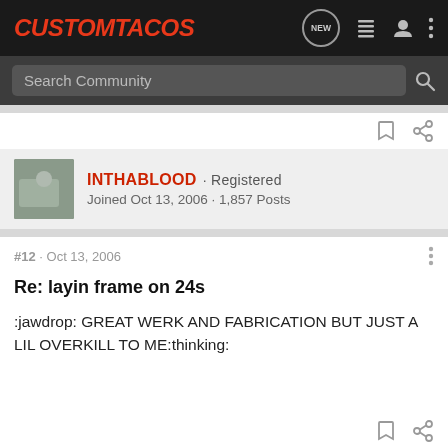CustomTacos
Search Community
INTHABLOOD · Registered
Joined Oct 13, 2006 · 1,857 Posts
#12 · Oct 13, 2006
Re: layin frame on 24s
:jawdrop: GREAT WERK AND FABRICATION BUT JUST A LIL OVERKILL TO ME:thinking: